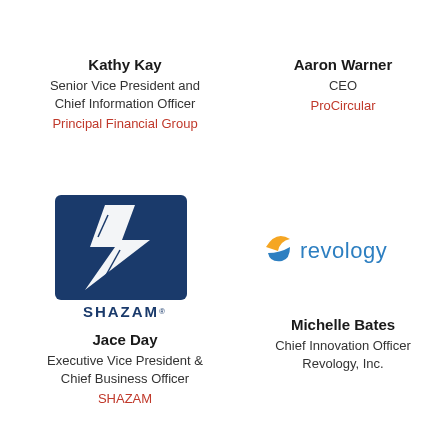Kathy Kay
Senior Vice President and Chief Information Officer
Principal Financial Group
Aaron Warner
CEO
ProCircular
[Figure (logo): SHAZAM logo - dark blue rectangle with white stylized S lightning bolt and SHAZAM text below]
[Figure (logo): Revology logo - blue and gold swoosh icon with 'revology' text in teal/blue]
Jace Day
Executive Vice President & Chief Business Officer
SHAZAM
Michelle Bates
Chief Innovation Officer
Revology, Inc.